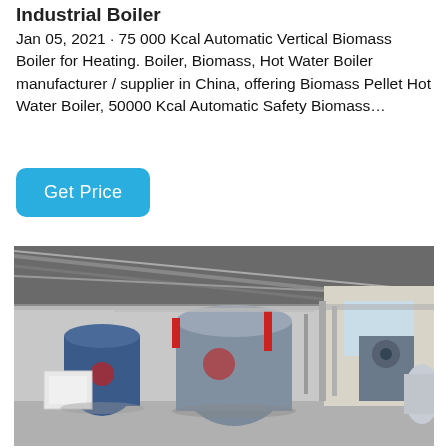Industrial Boiler
Jan 05, 2021 · 75 000 Kcal Automatic Vertical Biomass Boiler for Heating. Boiler, Biomass, Hot Water Boiler manufacturer / supplier in China, offering Biomass Pellet Hot Water Boiler, 50000 Kcal Automatic Safety Biomass…
Get Price
[Figure (photo): Industrial boiler room with multiple large cylindrical blue and silver boilers installed inside a warehouse-style building with metal roof trusses and piping systems.]